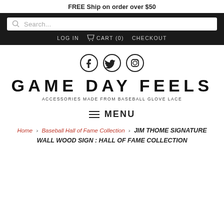FREE Ship on order over $50
Search...
LOG IN   CART (0)   CHECKOUT
[Figure (other): Social media icons: Twitter, Facebook, Instagram in circles]
GAME DAY FEELS
ACCESSORIES MADE FROM BASEBALL GLOVE LACE
≡ MENU
Home › Baseball Hall of Fame Collection › JIM THOME SIGNATURE WALL WOOD SIGN : HALL OF FAME COLLECTION